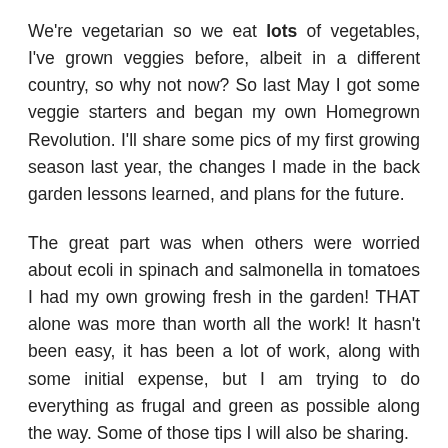We're vegetarian so we eat lots of vegetables, I've grown veggies before, albeit in a different country, so why not now? So last May I got some veggie starters and began my own Homegrown Revolution. I'll share some pics of my first growing season last year, the changes I made in the back garden lessons learned, and plans for the future.
The great part was when others were worried about ecoli in spinach and salmonella in tomatoes I had my own growing fresh in the garden! THAT alone was more than worth all the work! It hasn't been easy, it has been a lot of work, along with some initial expense, but I am trying to do everything as frugal and green as possible along the way. Some of those tips I will also be sharing.
It has definitely changed my outlook on fresh fruits and